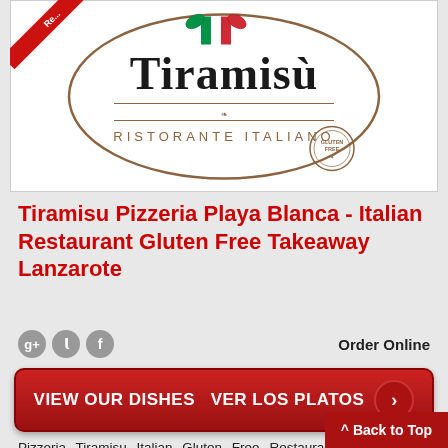[Figure (logo): Tiramisù Ristorante Italiano logo — oval framed text with Italian flag decoration and gluten-free badge]
Tiramisu Pizzeria Playa Blanca - Italian Restaurant Gluten Free Takeaway Lanzarote
Order Online
[Figure (other): Red button: VIEW OUR DISHES VER LOS PLATOS with arrow]
Pizzeria Tiramisu Italian Gluten Free Restaurant Playa Blanca Gluten Free Pizza Delivery Restaurant & Takeaway Playa Blanca Lanzarote L